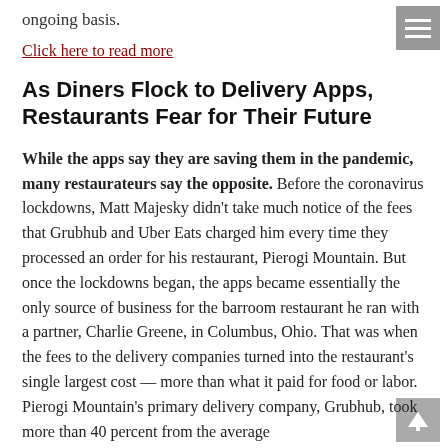ongoing basis.
Click here to read more
As Diners Flock to Delivery Apps, Restaurants Fear for Their Future
While the apps say they are saving them in the pandemic, many restaurateurs say the opposite. Before the coronavirus lockdowns, Matt Majesky didn't take much notice of the fees that Grubhub and Uber Eats charged him every time they processed an order for his restaurant, Pierogi Mountain. But once the lockdowns began, the apps became essentially the only source of business for the barroom restaurant he ran with a partner, Charlie Greene, in Columbus, Ohio. That was when the fees to the delivery companies turned into the restaurant's single largest cost — more than what it paid for food or labor. Pierogi Mountain's primary delivery company, Grubhub, took more than 40 percent from the average